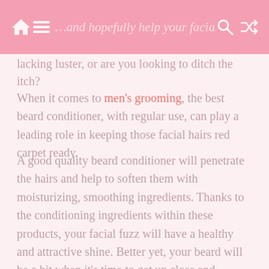… and hopefully help your facial hair lacking luster, or are you looking to ditch the itch?
lacking luster, or are you looking to ditch the itch?
When it comes to men's grooming, the best beard conditioner, with regular use, can play a leading role in keeping those facial hairs red carpet ready.
A good quality beard conditioner will penetrate the hairs and help to soften them with moisturizing, smoothing ingredients. Thanks to the conditioning ingredients within these products, your facial fuzz will have a healthy and attractive shine. Better yet, your beard will be a hit when it's time to get up close and personal.
[Figure (screenshot): @vikingrevolution / Instagram embedded box]